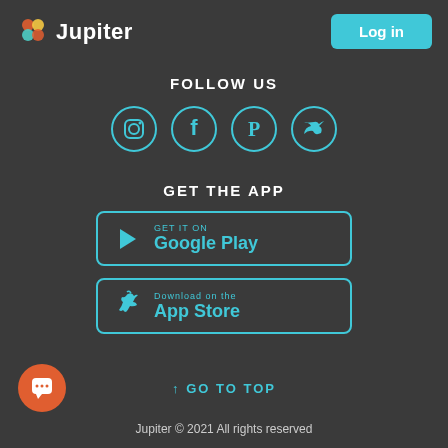[Figure (logo): Jupiter logo with colorful icon and white text]
[Figure (other): Log in button (teal/cyan rounded rectangle)]
FOLLOW US
[Figure (other): Four social media icons in teal circles: Instagram, Facebook, Pinterest, Twitter]
GET THE APP
[Figure (other): Google Play store button with teal border]
[Figure (other): Apple App Store download button with teal border]
↑ GO TO TOP
[Figure (other): Orange chat bubble icon in bottom left corner]
Jupiter © 2021 All rights reserved